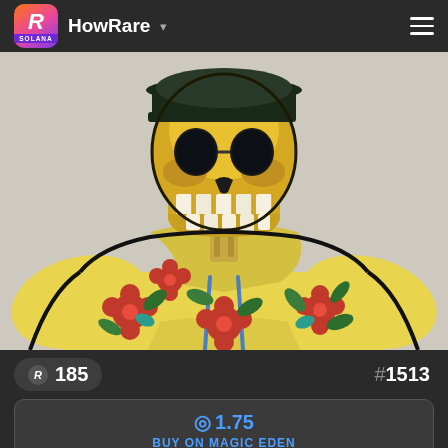HowRare
[Figure (illustration): NFT artwork of a skeleton character wearing a yellow floral hoodie with red flowers and green leaves, wearing a dark cap and sunglasses. The character has a golden skull head. Background is light beige/tan.]
R 185
#1513
◎1.75 BUY ON MAGIC EDEN
NO SALE HISTORY